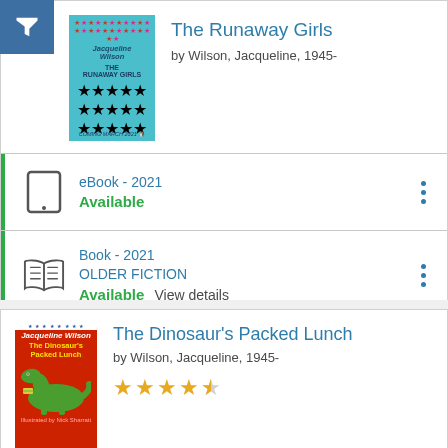[Figure (screenshot): Filter funnel icon button (white on blue background)]
[Figure (illustration): Book cover for The Runaway Girls by Jacqueline Wilson, teal background with stars pattern]
The Runaway Girls
by Wilson, Jacqueline, 1945-
eBook - 2021
Available
Book - 2021
OLDER FICTION
Available View details
[Figure (illustration): Book cover for The Dinosaur's Packed Lunch by Jacqueline Wilson, red background with dinosaur illustration]
The Dinosaur's Packed Lunch
by Wilson, Jacqueline, 1945-
[Figure (other): Star rating: 4.5 out of 5 stars]